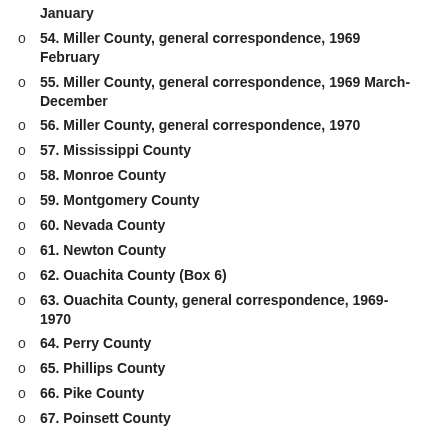January
54. Miller County, general correspondence, 1969 February
55. Miller County, general correspondence, 1969 March-December
56. Miller County, general correspondence, 1970
57. Mississippi County
58. Monroe County
59. Montgomery County
60. Nevada County
61. Newton County
62. Ouachita County (Box 6)
63. Ouachita County, general correspondence, 1969-1970
64. Perry County
65. Phillips County
66. Pike County
67. Poinsett County